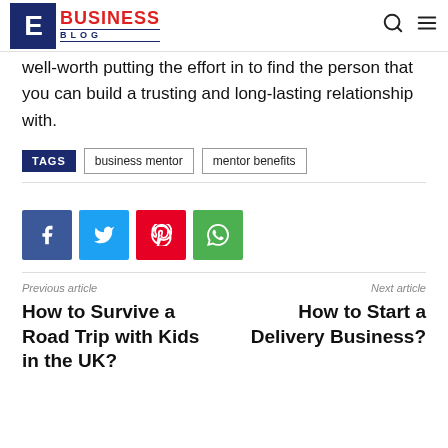E BUSINESS BLOG
well-worth putting the effort in to find the person that you can build a trusting and long-lasting relationship with.
TAGS  business mentor  mentor benefits
[Figure (other): Social share buttons: Facebook, Twitter, Pinterest, WhatsApp]
Previous article
How to Survive a Road Trip with Kids in the UK?
Next article
How to Start a Delivery Business?